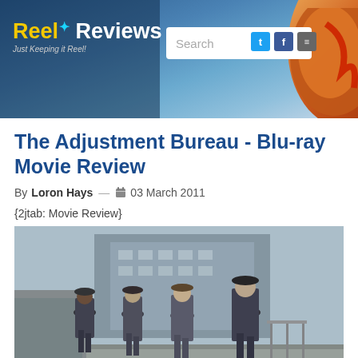Reel Reviews - Just Keeping it Reel!
The Adjustment Bureau - Blu-ray Movie Review
By Loron Hays — 03 March 2011
{2jtab: Movie Review}
[Figure (photo): Four men in suits and fedora hats walking on a rooftop or outdoor industrial area. Scene from The Adjustment Bureau movie.]